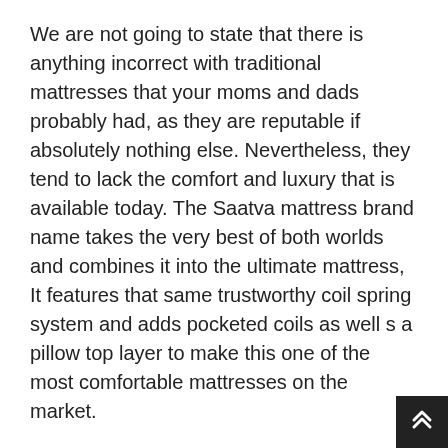We are not going to state that there is anything incorrect with traditional mattresses that your moms and dads probably had, as they are reputable if absolutely nothing else. Nevertheless, they tend to lack the comfort and luxury that is available today. The Saatva mattress brand name takes the very best of both worlds and combines it into the ultimate mattress, It features that same trustworthy coil spring system and adds pocketed coils as well s a pillow top layer to make this one of the most comfortable mattresses on the market.
This mix has truly settled for Saatva as it is now referred to as a premium online mattress brand names that use the highest quality beds at an affordable cost. Be warned, this is not the very best bed for anybody on a budget. However, if you are willing to invest over $1,000 for a bed it may be